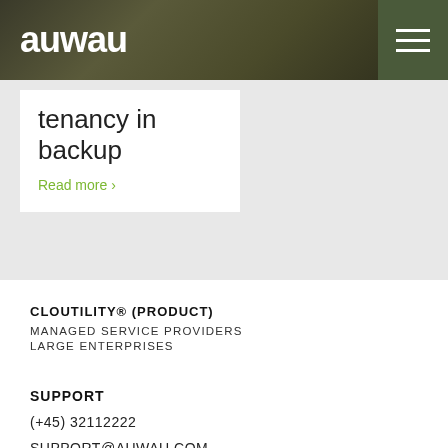auwau
tenancy in backup
Read more ›
CLOUTILITY® (PRODUCT)
MANAGED SERVICE PROVIDERS
LARGE ENTERPRISES
SUPPORT
(+45) 32112222
SUPPORT@AUWAU.COM